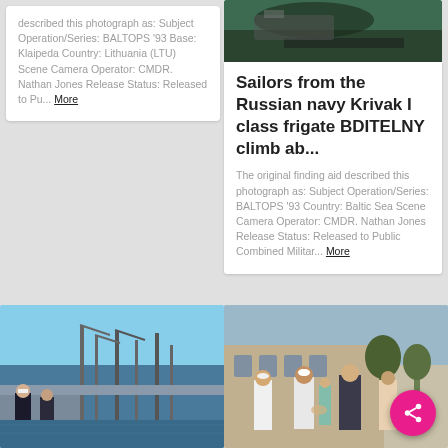described this photograph as: Subject Operation/Series: BALTOPS '93 Base: Klaipeda Country: Lithuania (LTU) Scene Camera Operator: CMDR. Nathan Jones Release Status: Released to Pu... More
[Figure (photo): Close-up photo showing part of a naval vessel or equipment, dark tones, appears to be near water.]
Sailors from the Russian navy Krivak I class frigate BDITELNY climb ab...
The original finding aid described this photograph as: Subject Operation/Series: BALTOPS '93 Country: Baltic Sea Scene Camera Operator: CMDR. Nathan Jones Release Status: Released to Public Combined Militar... More
[Figure (photo): Naval officers and sailors on deck of a ship in a harbor with cranes visible in the background.]
[Figure (photo): Sailors in white uniforms interacting with civilians in an outdoor urban setting near a historic building.]